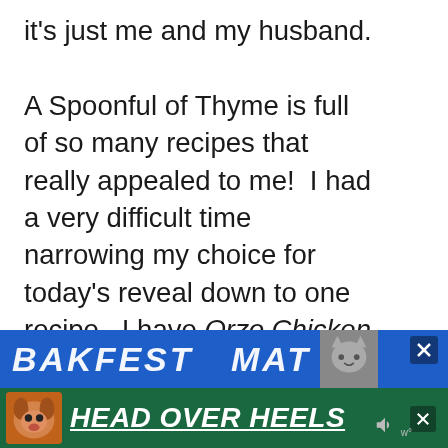it's just me and my husband.

A Spoonful of Thyme is full of so many recipes that really appealed to me!  I had a very difficult time narrowing my choice for today's reveal down to one recipe.  I have Orzo Chicken Salad and White Pizzas with Arugula bookmarked for the future and am looking forward to trying them.  However, for today's reveal, I made Kate's recipe for Cowboy Cookies.
[Figure (screenshot): Advertisement banner at bottom of page: blue strip with bold italic text partially visible, green strip with dog image and bold italic underlined text HEAD OVER HEELS. Close buttons visible.]